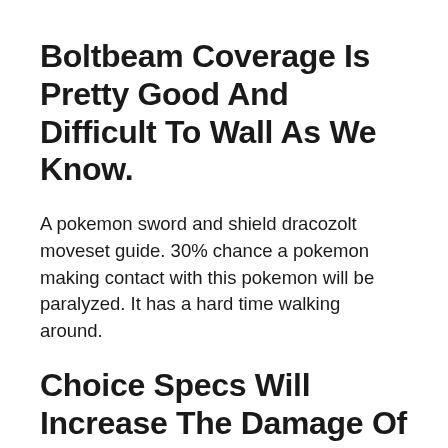Boltbeam Coverage Is Pretty Good And Difficult To Wall As We Know.
A pokemon sword and shield dracozolt moveset guide. 30% chance a pokemon making contact with this pokemon will be paralyzed. It has a hard time walking around.
Choice Specs Will Increase The Damage Of Arctozolt's Special Moves By 1.5X But Will Lock You Into The First Move You